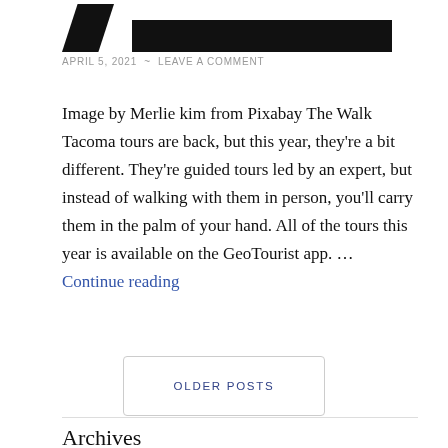[Figure (photo): Partially visible redacted/cropped image at the top of the page showing black silhouette shapes]
APRIL 5, 2021  ~  LEAVE A COMMENT
Image by Merlie kim from Pixabay The Walk Tacoma tours are back, but this year, they're a bit different. They're guided tours led by an expert, but instead of walking with them in person, you'll carry them in the palm of your hand. All of the tours this year is available on the GeoTourist app. … Continue reading
OLDER POSTS
Archives